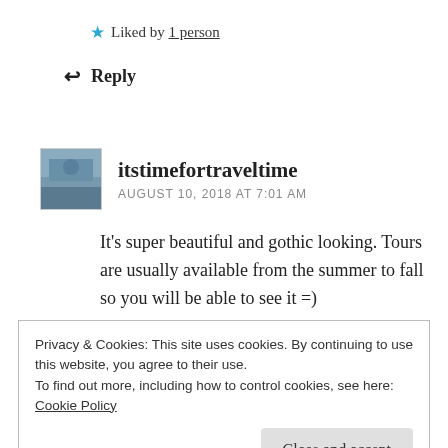★ Liked by 1 person
↩ Reply
itstimefortraveltime
AUGUST 10, 2018 AT 7:01 AM
It's super beautiful and gothic looking. Tours are usually available from the summer to fall so you will be able to see it =)
Privacy & Cookies: This site uses cookies. By continuing to use this website, you agree to their use.
To find out more, including how to control cookies, see here:
Cookie Policy
Close and accept
Carmen Baerson